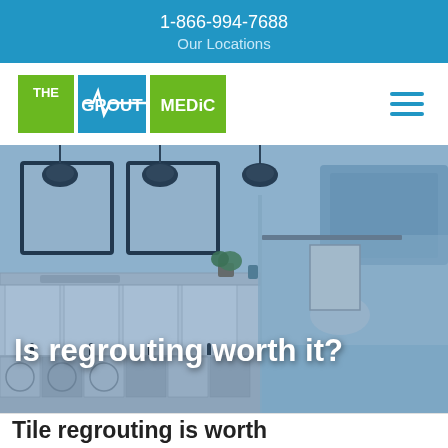1-866-994-7688
Our Locations
[Figure (logo): The Grout Medic logo with green and blue squares and white text]
[Figure (photo): Modern bathroom interior with white cabinets, black hardware, glass shower enclosure, patterned tile floor, and pendant lights, shown with blue-grey tint overlay]
Is regrouting worth it?
Tile regrouting is worth...